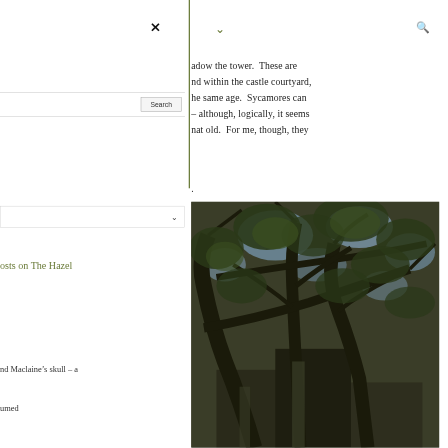×
Search
∨
osts on The Hazel
nd Maclaine's skull – a
umed
adow the tower.  These are nd within the castle courtyard, he same age.  Sycamores can – although, logically, it seems nat old.  For me, though, they
.
[Figure (photo): Upward view looking into the canopy of a large sycamore or similar tree, showing spreading gnarled branches against a sky with green leaves, dark dramatic image.]